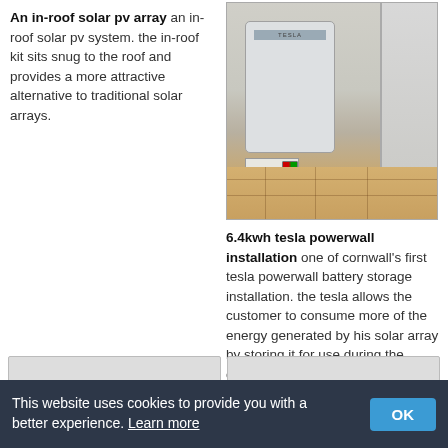An in-roof solar pv array an in-roof solar pv system. the in-roof kit sits snug to the roof and provides a more attractive alternative to traditional solar arrays.
[Figure (photo): Photo of a Tesla Powerwall battery storage unit mounted on an exterior wall of a house, with tiled patio floor visible]
6.4kwh tesla powerwall installation one of cornwall's first tesla powerwall battery storage installation. the tesla allows the customer to consume more of the energy generated by his solar array by storing it for use during the evening and night.
This website uses cookies to provide you with a better experience. Learn more  OK